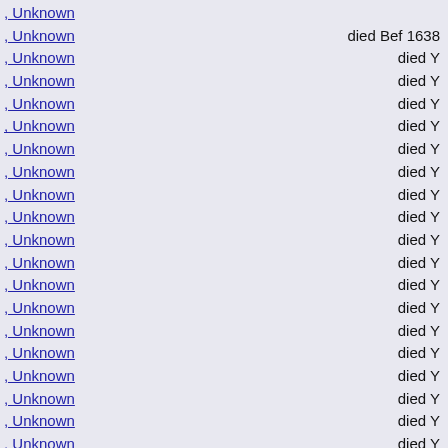, Unknown
, Unknown — died Bef 1638
, Unknown — died Y
, Unknown — died Y
, Unknown — died Y
, Unknown — died Y
, Unknown — died Y
, Unknown — died Y
, Unknown — died Y
, Unknown — died Y
, Unknown — died Y
, Unknown — died Y
, Unknown — died Y
, Unknown — died Y
, Unknown — died Y
, Unknown — died Y
, Unknown — died Y
, Unknown — died Y
, Unknown — died Y
, Unknown — died Y
, Unknown — died Y